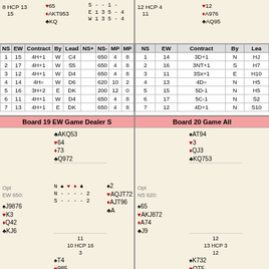| NS | EW | Contract | By | Lead | NS+ | NS- | MP | MP |
| --- | --- | --- | --- | --- | --- | --- | --- | --- |
| 1 | 15 | 4H+1 | W | C4 |  | 650 | 4 | 8 |
| 2 | 17 | 4H+1 | W | S5 |  | 650 | 4 | 8 |
| 3 | 12 | 4H+1 | W | D4 |  | 650 | 4 | 8 |
| 4 | 14 | 4H= | W | D6 |  | 620 | 10 | 2 |
| 5 | 16 | 3H+2 | E | DK |  | 200 | 12 | 0 |
| 6 | 11 | 4H+1 | W | D4 |  | 650 | 4 | 8 |
| 7 | 13 | 4H+1 | E | DK |  | 650 | 4 | 8 |
| NS | EW | Contract | By | Lead |
| --- | --- | --- | --- | --- |
| 1 | 14 | 3D+1 | N | HJ |
| 2 | 16 | 3NT+1 | S | H7 |
| 3 | 11 | 3Sx+1 | E | H10 |
| 4 | 13 | 4D= | N | H5 |
| 5 | 15 | 5D-1 | N | H5 |
| 6 | 17 | 5C-1 | N | S2 |
| 7 | 12 | 4D+1 | N | S10 |
Board 19 EW Game Dealer S
[Figure (other): Bridge hand diagram for Board 19: North AKQ53 64 73 Q972; West J9876 K3 Q42 KJ6; East 2 AQJT72 AJT96 A; South T4 985 K85 ...]
Board 20 Game All
[Figure (other): Bridge hand diagram for Board 20: North AT94 3 QJ3 KQ753; West 65 AKJ872 A74 J9; South K732 QT5 KT657...]